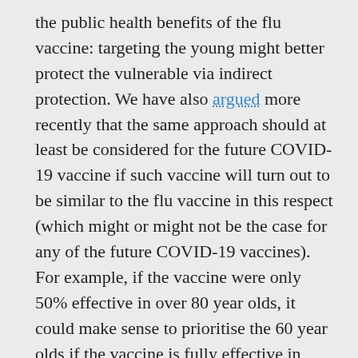the public health benefits of the flu vaccine: targeting the young might better protect the vulnerable via indirect protection. We have also argued more recently that the same approach should at least be considered for the future COVID-19 vaccine if such vaccine will turn out to be similar to the flu vaccine in this respect (which might or might not be the case for any of the future COVID-19 vaccines). For example, if the vaccine were only 50% effective in over 80 year olds, it could make sense to prioritise the 60 year olds if the vaccine is fully effective in them. In this case, vulnerability is not the only or even the primary criterion for prioritization in access to the vaccine.
Recent UK vaccine prioritisation modelling suggests that as long as a vaccine were more than 20% effective (i.e. only working 1 in 5) it would still save most lives